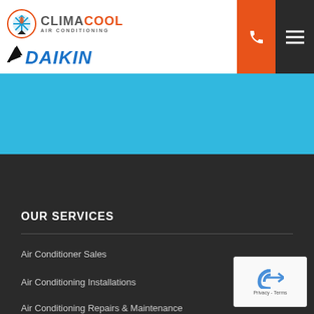[Figure (logo): ClimaCool Air Conditioning logo with orange/blue circular icon and Daikin logo below]
[Figure (other): Orange phone icon button and dark hamburger menu button in top right]
[Figure (other): Light blue banner section]
OUR SERVICES
Air Conditioner Sales
Air Conditioning Installations
Air Conditioning Repairs & Maintenance